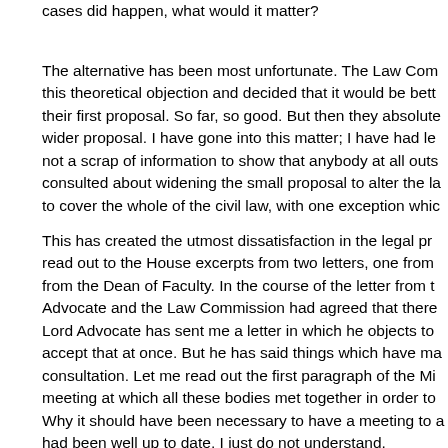cases did happen, what would it matter?
The alternative has been most unfortunate. The Law Com this theoretical objection and decided that it would be bett their first proposal. So far, so good. But then they absolute wider proposal. I have gone into this matter; I have had le not a scrap of information to show that anybody at all outs consulted about widening the small proposal to alter the la to cover the whole of the civil law, with one exception whic
This has created the utmost dissatisfaction in the legal pr read out to the House excerpts from two letters, one from from the Dean of Faculty. In the course of the letter from t Advocate and the Law Commission had agreed that there Lord Advocate has sent me a letter in which he objects to accept that at once. But he has said things which have ma consultation. Let me read out the first paragraph of the Mi meeting at which all these bodies met together in order to Why it should have been necessary to have a meeting to a had been well up to date, I just do not understand.